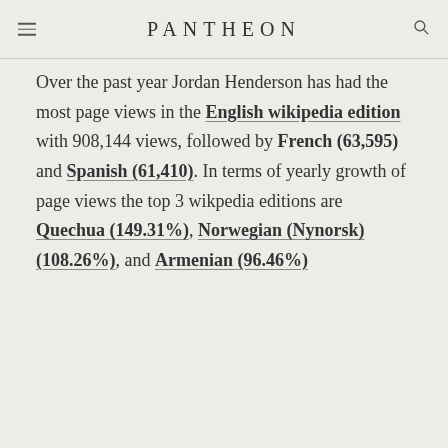PANTHEON
Over the past year Jordan Henderson has had the most page views in the English wikipedia edition with 908,144 views, followed by French (63,595) and Spanish (61,410). In terms of yearly growth of page views the top 3 wikpedia editions are Quechua (149.31%), Norwegian (Nynorsk) (108.26%), and Armenian (96.46%)